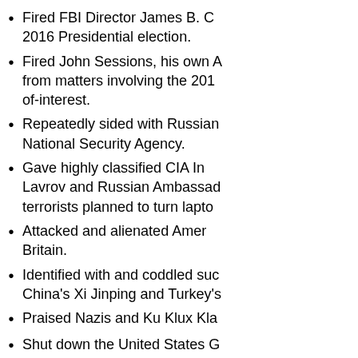Fired FBI Director James B. C... 2016 Presidential election.
Fired John Sessions, his own ... from matters involving the 201... of-interest.
Repeatedly sided with Russian... National Security Agency.
Gave highly classified CIA I... Lavrov and Russian Ambassad... terrorists planned to turn laptop...
Attacked and alienated Amer... Britain.
Identified with and coddled suc... China's Xi Jinping and Turkey's...
Praised Nazis and Ku Klux Kla...
Shut down the United States G... lives of 800,000 Federal emp... worthless wall on the U.S.-Mex...
“Joked” that the United States–...
Repeatedly attacked Michigan...